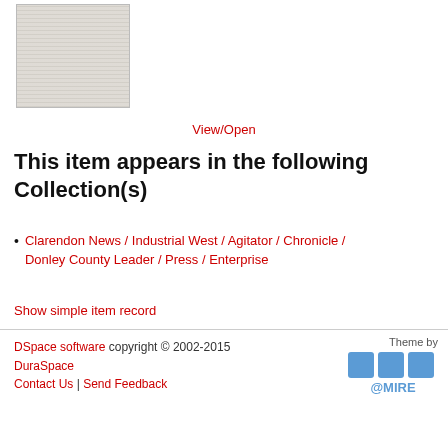[Figure (photo): Thumbnail image of an old scanned newspaper page, showing columns of printed text in black and white]
View/Open
This item appears in the following Collection(s)
Clarendon News / Industrial West / Agitator / Chronicle / Donley County Leader / Press / Enterprise
Show simple item record
DSpace software copyright © 2002-2015  DuraSpace  Contact Us | Send Feedback  Theme by @MIRE